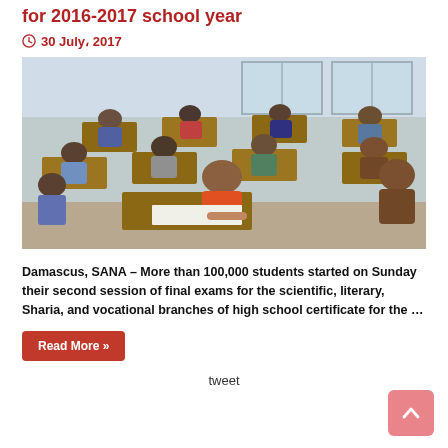for 2016-2017 school year
30 July، 2017
[Figure (photo): Students sitting at wooden desks in a classroom taking written exams. A young man in an orange shirt is prominently in the foreground writing on paper. The room has light blue walls and windows in the background.]
Damascus, SANA – More than 100,000 students started on Sunday their second session of final exams for the scientific, literary, Sharia, and vocational branches of high school certificate for the …
Read More »
tweet